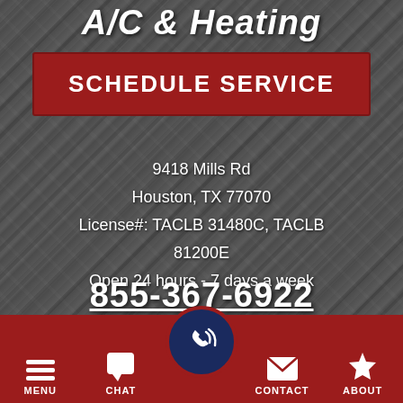A/C & Heating
SCHEDULE SERVICE
9418 Mills Rd
Houston, TX 77070
License#: TACLB 31480C, TACLB 81200E
Open 24 hours - 7 days a week
855-367-6922
[Figure (infographic): Social media icons row: Facebook, Google Maps, Yelp — all in dark red circles]
[Figure (infographic): Bottom navigation bar with icons and labels: MENU (hamburger), CHAT (speech bubble), center call button (phone icon in navy circle), CONTACT (envelope), ABOUT (star)]